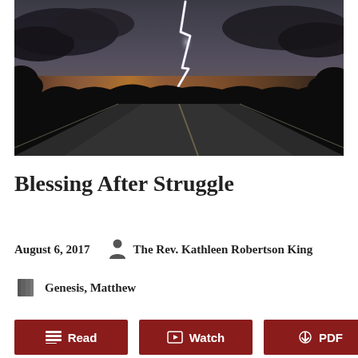[Figure (photo): Dark stormy night scene of a road with a bright lightning bolt striking in the distance, trees silhouetted against a dusky sky with orange glow on the horizon.]
Blessing After Struggle
August 6, 2017   The Rev. Kathleen Robertson King
Genesis, Matthew
Read   Watch   PDF